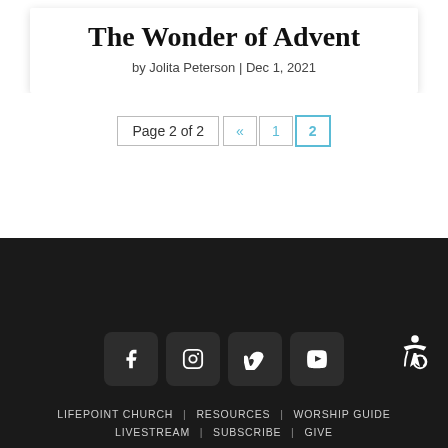The Wonder of Advent
by Jolita Peterson | Dec 1, 2021
Page 2 of 2  «  1  2
LIFEPOINT CHURCH | RESOURCES | WORSHIP GUIDE
LIVESTREAM | SUBSCRIBE | GIVE